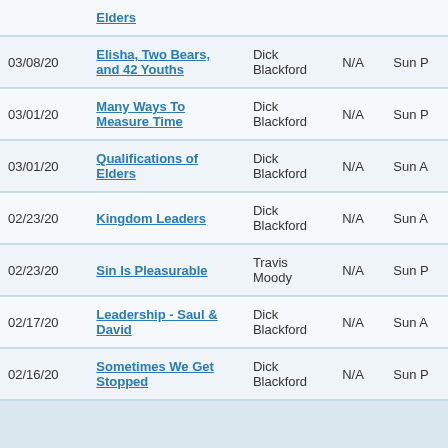| Date | Title | Speaker | N/A | Service |
| --- | --- | --- | --- | --- |
|  | Elders |  |  |  |
| 03/08/20 | Elisha, Two Bears, and 42 Youths | Dick Blackford | N/A | Sun P |
| 03/01/20 | Many Ways To Measure Time | Dick Blackford | N/A | Sun P |
| 03/01/20 | Qualifications of Elders | Dick Blackford | N/A | Sun A |
| 02/23/20 | Kingdom Leaders | Dick Blackford | N/A | Sun A |
| 02/23/20 | Sin Is Pleasurable | Travis Moody | N/A | Sun P |
| 02/17/20 | Leadership - Saul & David | Dick Blackford | N/A | Sun A |
| 02/16/20 | Sometimes We Get Stopped | Dick Blackford | N/A | Sun P |